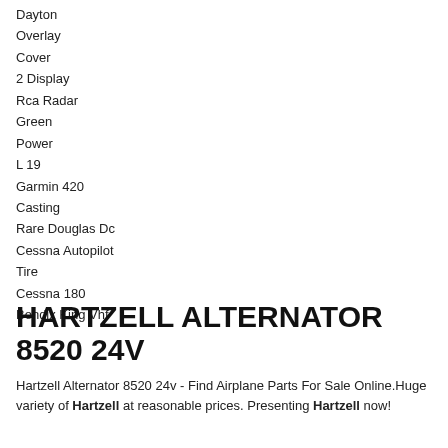Dayton
Overlay
Cover
2 Display
Rca Radar
Green
Power
L 19
Garmin 420
Casting
Rare Douglas Dc
Cessna Autopilot
Tire
Cessna 180
Bendix King Vhf
HARTZELL ALTERNATOR 8520 24V
Hartzell Alternator 8520 24v - Find Airplane Parts For Sale Online.Huge variety of Hartzell at reasonable prices. Presenting Hartzell now!